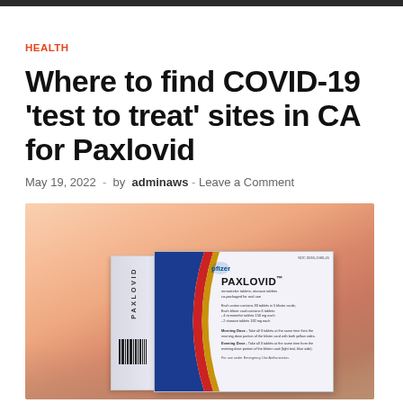HEALTH
Where to find COVID-19 'test to treat' sites in CA for Paxlovid
May 19, 2022  -  by adminaws  -  Leave a Comment
[Figure (photo): A box of Paxlovid antiviral medication displayed against a warm peachy-pink blurred background. The box is white with a blue, red, and gold curved stripe design on the side, showing the Pfizer logo and PAXLOVID branding with medication details.]